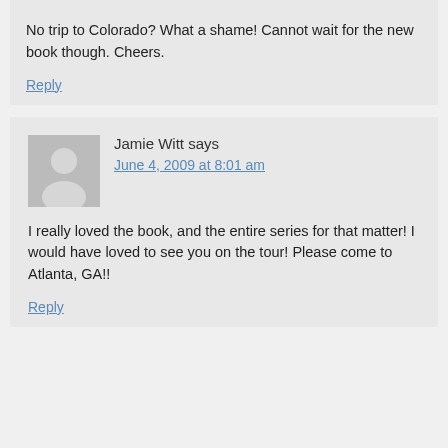No trip to Colorado? What a shame! Cannot wait for the new book though. Cheers.
Reply
Jamie Witt says
June 4, 2009 at 8:01 am
I really loved the book, and the entire series for that matter! I would have loved to see you on the tour! Please come to Atlanta, GA!!
Reply